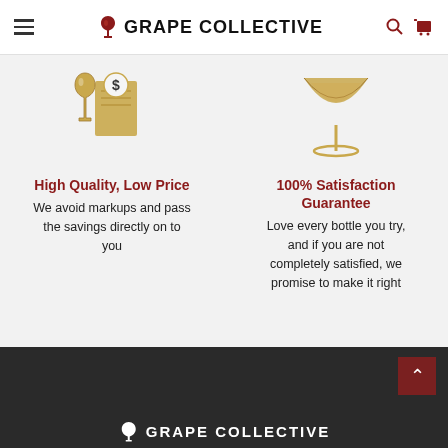GRAPE COLLECTIVE
[Figure (illustration): Illustration of a wine glass with a dollar sign receipt/tag, in gold/tan colors]
High Quality, Low Price
We avoid markups and pass the savings directly on to you
[Figure (illustration): Illustration of a wine glass (martini/coupe style) in gold/tan colors]
100% Satisfaction Guarantee
Love every bottle you try, and if you are not completely satisfied, we promise to make it right
GRAPE COLLECTIVE